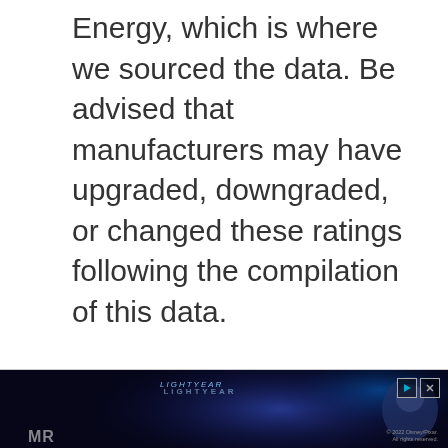Energy, which is where we sourced the data. Be advised that manufacturers may have upgraded, downgraded, or changed these ratings following the compilation of this data.
[Figure (other): Small cyan/teal play button icon]
[Figure (photo): Advertisement banner for Disney/Pixar Lightyear movie featuring Buzz Lightyear character with glowing blue background and movie title text]